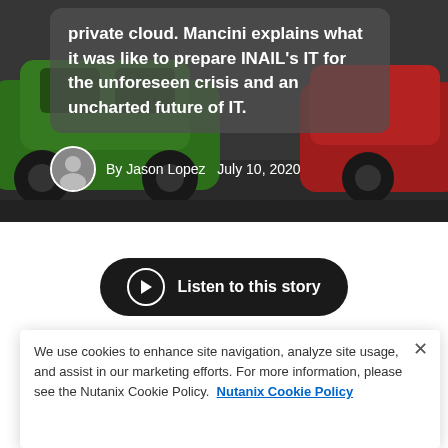[Figure (photo): Hero image of toy cars (green and red) on dark background with text overlay and author byline]
private cloud. Mancini explains what it was like to prepare INAIL's IT for the unforeseen crisis and an uncharted future of IT.
By Jason Lopez   July 10, 2020
Listen to this story
We use cookies to enhance site navigation, analyze site usage, and assist in our marketing efforts. For more information, please see the Nutanix Cookie Policy.  Nutanix Cookie Policy